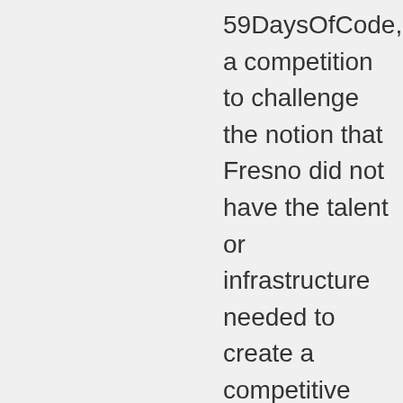59DaysOfCode, a competition to challenge the notion that Fresno did not have the talent or infrastructure needed to create a competitive technology hub. This annual software competition is bringing together Valley coders to compete to create websites and mobile apps, as well as develop technological solutions to real-life-problems such as the California's water crisis. She also co-founded Hashtag, a local coworking space for designers and developers,